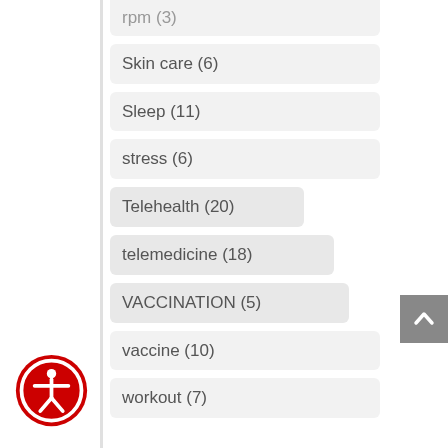rpm (3)
Skin care (6)
Sleep (11)
stress (6)
Telehealth (20)
telemedicine (18)
VACCINATION (5)
vaccine (10)
workout (7)